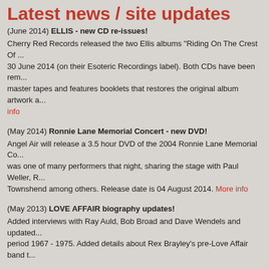Latest news / site updates
(June 2014) ELLIS - new CD re-issues! Cherry Red Records released the two Ellis albums "Riding On The Crest Of..." 30 June 2014 (on their Esoteric Recordings label). Both CDs have been rem... master tapes and features booklets that restores the original album artwork a... More info
(May 2014) Ronnie Lane Memorial Concert - new DVD! Angel Air will release a 3.5 hour DVD of the 2004 Ronnie Lane Memorial Co... was one of many performers that night, sharing the stage with Paul Weller, R... Townshend among others. Release date is 04 August 2014. More info
(May 2013) LOVE AFFAIR biography updates! Added interviews with Ray Auld, Bob Broad and Dave Wendels and updated... period 1967 - 1975. Added details about Rex Brayley's pre-Love Affair band t...
(April 2013) ELLIS - "El Doomo" picture sleeve single from Turkey! Epic Turkey coupled "El Doomo" with "Wish I Was Back Home" for a 1974 si... sleeve. More info
(Dec 2012) KIN - another "El Doomo" picture sleeve discovered! Back in 2007, a German promo single for Steve Ellis' band KIN was discovere... CBS/Blitz promo sleeve with a short bio about KIN printed on the back. An...